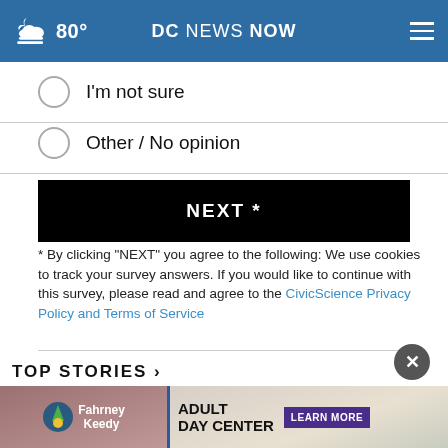80° DC NEWS NOW
I'm not sure
Other / No opinion
NEXT *
* By clicking "NEXT" you agree to the following: We use cookies to track your survey answers. If you would like to continue with this survey, please read and agree to the CivicScience Privacy Policy and Terms of Service
TOP STORIES ›
[Figure (photo): Advertisement banner for Fahrney Keedy Adult Day Center with Learn More button]